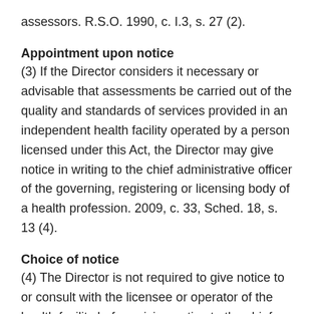assessors. R.S.O. 1990, c. I.3, s. 27 (2).
Appointment upon notice
(3) If the Director considers it necessary or advisable that assessments be carried out of the quality and standards of services provided in an independent health facility operated by a person licensed under this Act, the Director may give notice in writing to the chief administrative officer of the governing, registering or licensing body of a health profession. 2009, c. 33, Sched. 18, s. 13 (4).
Choice of notice
(4) The Director is not required to give notice to or consult with the licensee or operator of the health facility before giving notice to the chief